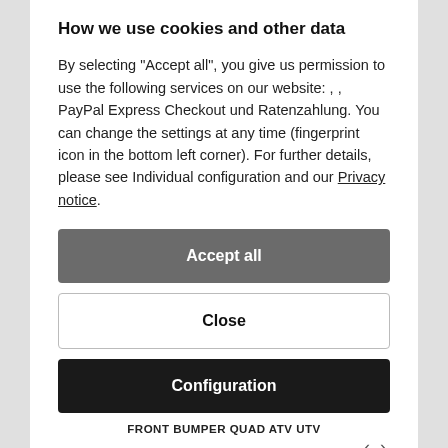How we use cookies and other data
By selecting "Accept all", you give us permission to use the following services on our website: , , PayPal Express Checkout und Ratenzahlung. You can change the settings at any time (fingerprint icon in the bottom left corner). For further details, please see Individual configuration and our Privacy notice.
Accept all
Close
Configuration
FRONT BUMPER QUAD ATV UTV